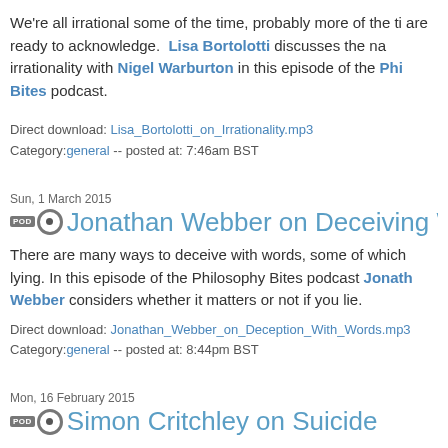We're all irrational some of the time, probably more of the time than we are ready to acknowledge. Lisa Bortolotti discusses the nature of irrationality with Nigel Warburton in this episode of the Philosophy Bites podcast.
Direct download: Lisa_Bortolotti_on_Irrationality.mp3
Category:general -- posted at: 7:46am BST
Sun, 1 March 2015
Jonathan Webber on Deceiving With Wo...
There are many ways to deceive with words, some of which don't involve lying. In this episode of the Philosophy Bites podcast Jonathan Webber considers whether it matters or not if you lie.
Direct download: Jonathan_Webber_on_Deception_With_Words.mp3
Category:general -- posted at: 8:44pm BST
Mon, 16 February 2015
Simon Critchley on Suicide
Albert Camus described suicide as the 'one really serious philosophical problem'. In this episode of the Philosophy Bites podcast Simon Critchley discusses suicide with Nigel Warburton.